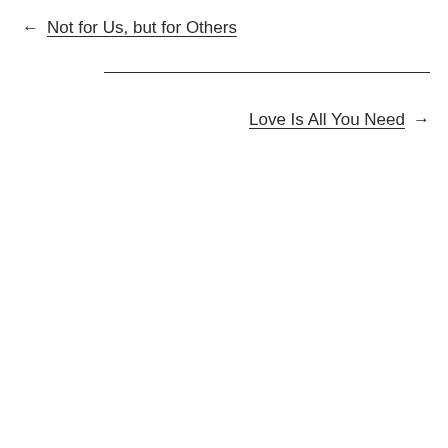← Not for Us, but for Others
Love Is All You Need →